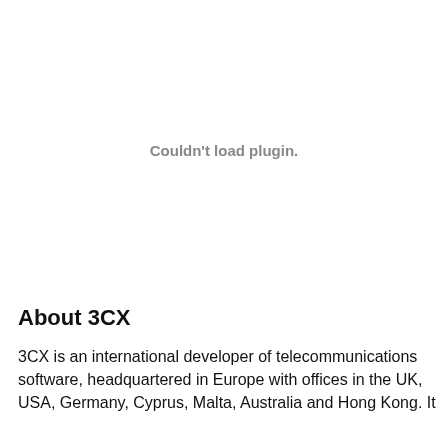[Figure (other): Couldn't load plugin. placeholder area — an embedded plugin or media element failed to load.]
About 3CX
3CX is an international developer of telecommunications software, headquartered in Europe with offices in the UK, USA, Germany, Cyprus, Malta, Australia and Hong Kong. It